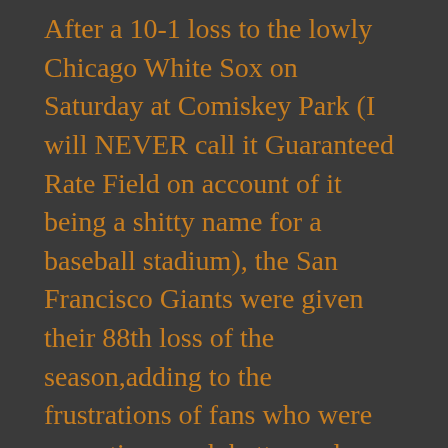After a 10-1 loss to the lowly Chicago White Sox on Saturday at Comiskey Park (I will NEVER call it Guaranteed Rate Field on account of it being a shitty name for a baseball stadium), the San Francisco Giants were given their 88th loss of the season,adding to the frustrations of fans who were expecting much better and much more from a team that lost to the eventual world champions in the postseason the year prior.
I know the season isn't over officially,but for the Giants,this one is,and with the team more than on pace to lose 100 games for the first time since 1985,it's time to assess the